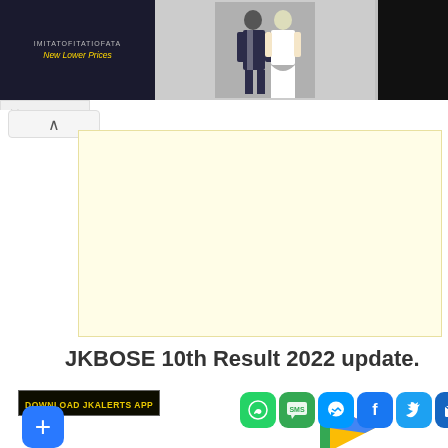[Figure (screenshot): Ad banner at top with dark background left section showing 'New Lower Prices', couple in formal wear center, and fashion model on right]
[Figure (other): Yellow/light-yellow advertisement placeholder block]
JKBOSE 10th Result 2022 update.
[Figure (infographic): Row of social sharing icons: WhatsApp (green), SMS (green), Messenger (blue), Facebook (blue), Twitter (blue), Email (blue). Below: Download JKAlerts App label with plus button and Google Play logo.]